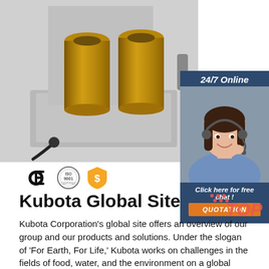[Figure (photo): Industrial product photo showing two gold/brass-colored cylindrical bushings or sleeves mounted on a gray metal base plate, with a black cable visible at bottom left.]
[Figure (photo): 24/7 Online chat widget with a female customer service representative wearing a headset, smiling. Dark blue background with 'Click here for free chat!' text and an orange QUOTATION button.]
[Figure (illustration): CE mark logo, ISO 9001 certification logo, and an orange shield/dollar sign icon representing certifications.]
Kubota Global Site
Kubota Corporation's global site offers an overview of our group and our products and solutions. Under the slogan of 'For Earth, For Life,' Kubota works on challenges in the fields of food, water, and the environment on a global scale.